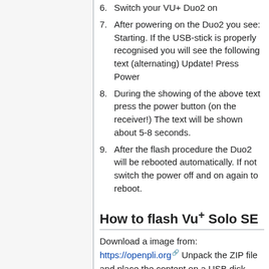6. Switch your VU+ Duo2 on
7. After powering on the Duo2 you see: Starting. If the USB-stick is properly recognised you will see the following text (alternating) Update! Press Power
8. During the showing of the above text press the power button (on the receiver!) The text will be shown about 5-8 seconds.
9. After the flash procedure the Duo2 will be rebooted automatically. If not switch the power off and on again to reboot.
How to flash Vu+ Solo SE
Download a image from: https://openpli.org Unpack the ZIP file and place the content on a USB disk.